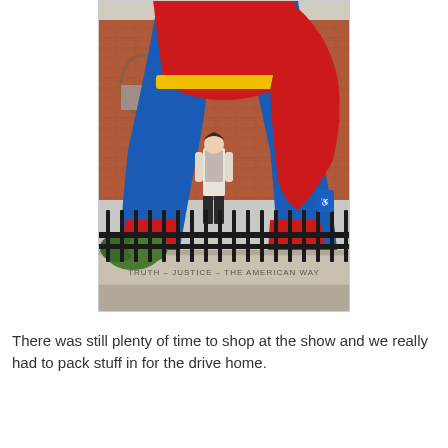[Figure (photo): A photo of a large Superman statue from below, showing the lower body and legs in blue and red costume with yellow belt. A person stands between the statue's legs for scale. Behind is a brick building. A black iron fence is in the foreground with a stone base reading 'TRUTH - JUSTICE - THE AMERICAN WAY'. Shrubs and blue accessibility sign visible.]
There was still plenty of time to shop at the show and we really had to pack stuff in for the drive home.